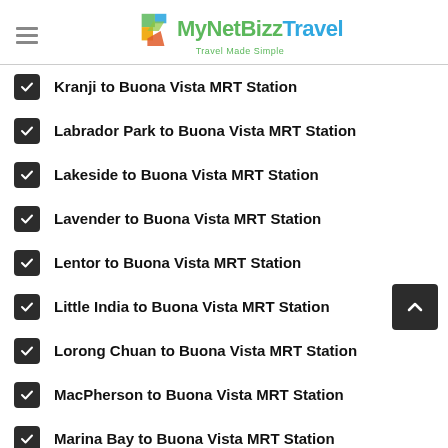MyNetBizzTravel - Travel Made Simple
Kranji to Buona Vista MRT Station
Labrador Park to Buona Vista MRT Station
Lakeside to Buona Vista MRT Station
Lavender to Buona Vista MRT Station
Lentor to Buona Vista MRT Station
Little India to Buona Vista MRT Station
Lorong Chuan to Buona Vista MRT Station
MacPherson to Buona Vista MRT Station
Marina Bay to Buona Vista MRT Station
Marina South Pier to Buona Vista MRT Station
Marsiling to Buona Vista MRT Station